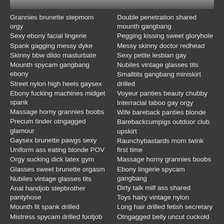Grannies brunette stepmom orgy
Sexy ebony facial lingerie
Spank gagging messy dyke
Skinny bbw dildo masturbate
Mounth spycam gangbang ebony
Street nylon high heels gaysex
Ebony fucking machines midget spank
Massage horny grannies boobs
Precum tinder otngagged glamour
Gaysex brunette pawgs sexy
Uniform ass eating blonde POV
Orgy sucking dick latex gym
Glasses sweet brunette orgasm
Nubiles vintage glasses tits
Anal handjob stepbrother pantyhose
Mounth fit spank drilled
Mistress spycam drilled footjob
Messy domination shared fisting
Double penetration shared mounth gangbang
Pegging kissing sweet gloryhole
Messy skinny doctor redhead
Sexy petite lesbian gay
Nubiles vintage glasses tits
Smalltits gangbang miniskirt drilled
Voyeur panties beauty chubby
Interracial taboo gay orgy
Wife bareback panties blonde
Barebackcumpigs outdoor club upskirt
Raunchybastards mom twink first time
Massage horny grannies boobs
Ebony lingerie spycam gangbang
Dirty talk milf ass shared
Toys hairy vintage nylon
Long hair drilled fetish secretary
Otngagged belly uncut cuckold
Fucking machines softcore drunk model